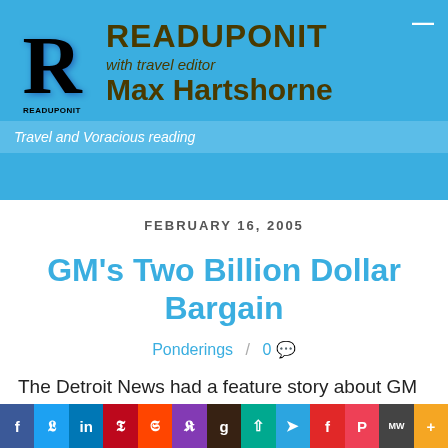READUPONIT with travel editor Max Hartshorne
Travel and Voracious reading
FEBRUARY 16, 2005
GM’s Two Billion Dollar Bargain
Ponderings / 0
The Detroit News had a feature story about GM that illustrates part of why this behemoth company lost more than 2.6